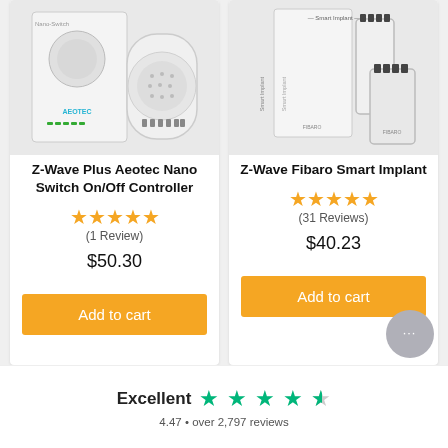[Figure (photo): Z-Wave Plus Aeotec Nano Switch product box and device photo]
Z-Wave Plus Aeotec Nano Switch On/Off Controller
★★★★★
(1 Review)
$50.30
Add to cart
[Figure (photo): Z-Wave Fibaro Smart Implant product box and device photo]
Z-Wave Fibaro Smart Implant
★★★★★
(31 Reviews)
$40.23
Add to cart
Excellent  ★ ★ ★ ★ ★
4.47 • over 2,797 reviews